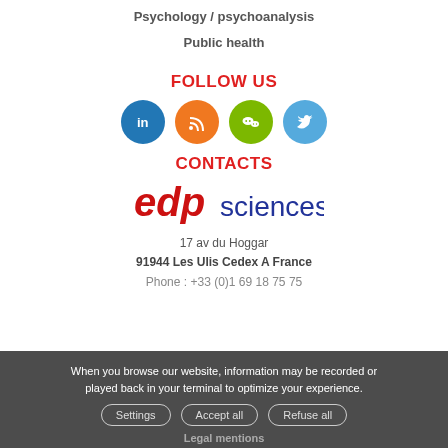Psychology / psychoanalysis
Public health
FOLLOW US
[Figure (infographic): Four social media icons in circles: LinkedIn (blue), RSS (orange), WeChat (green), Twitter (light blue)]
CONTACTS
[Figure (logo): EDP Sciences logo in red and blue text]
17 av du Hoggar
91944 Les Ulis Cedex A France
Phone : +33 (0)1 69 18 75 75
When you browse our website, information may be recorded or played back in your terminal to optimize your experience.
Open Monday to Friday, 09:00 until 18:00 pm.
Legal mentions